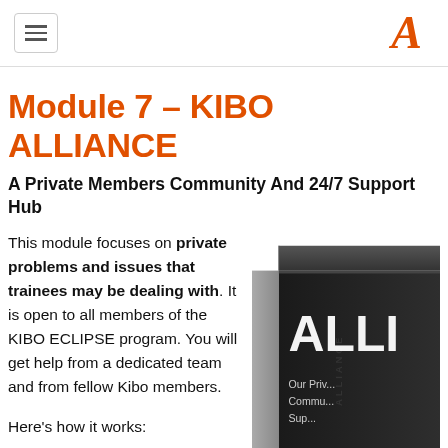[hamburger menu icon] [logo A]
Module 7 – KIBO ALLIANCE
A Private Members Community And 24/7 Support Hub
This module focuses on private problems and issues that trainees may be dealing with. It is open to all members of the KIBO ECLIPSE program. You will get help from a dedicated team and from fellow Kibo members.
Here's how it works:
[Figure (photo): Dark colored product box with text 'ALLIANCE' vertically on the spine and 'ALLI' visible on front, with partial text 'Our Priv... Commu... Sup...' on the front face]